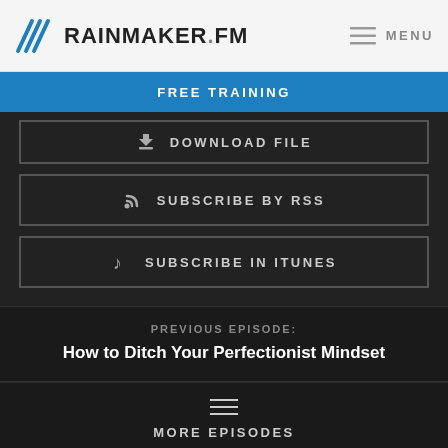RAINMAKER.FM
FREE TRAINING
DOWNLOAD FILE
SUBSCRIBE BY RSS
SUBSCRIBE IN ITUNES
PREVIOUS EPISODE:
How to Ditch Your Perfectionist Mindset
MORE EPISODES